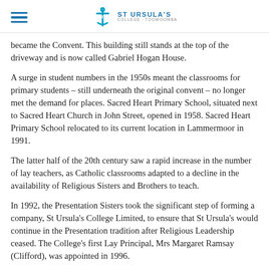ST URSULA'S COLLEGE (logo with anchor/cross icon and hamburger menu)
became the Convent. This building still stands at the top of the driveway and is now called Gabriel Hogan House.
A surge in student numbers in the 1950s meant the classrooms for primary students – still underneath the original convent – no longer met the demand for places. Sacred Heart Primary School, situated next to Sacred Heart Church in John Street, opened in 1958. Sacred Heart Primary School relocated to its current location in Lammermoor in 1991.
The latter half of the 20th century saw a rapid increase in the number of lay teachers, as Catholic classrooms adapted to a decline in the availability of Religious Sisters and Brothers to teach.
In 1992, the Presentation Sisters took the significant step of forming a company, St Ursula's College Limited, to ensure that St Ursula's would continue in the Presentation tradition after Religious Leadership ceased. The College's first Lay Principal, Mrs Margaret Ramsay (Clifford), was appointed in 1996.